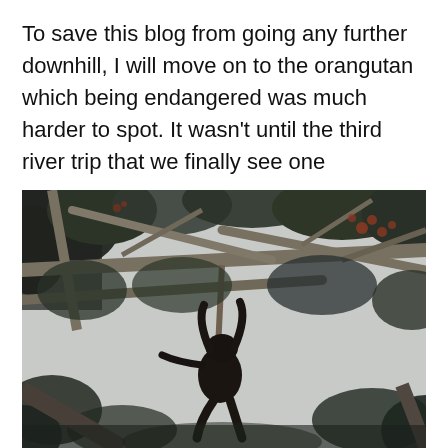To save this blog from going any further downhill, I will move on to the orangutan which being endangered was much harder to spot. It wasn't until the third river trip that we finally see one
[Figure (photo): A dark silhouette of an orangutan hanging from tree branches in a dense tropical forest canopy. The image is taken looking upward; the sky is overcast and pale, contrasting with the dark branches, leaves, and the hanging primate visible in the center-lower portion of the frame.]